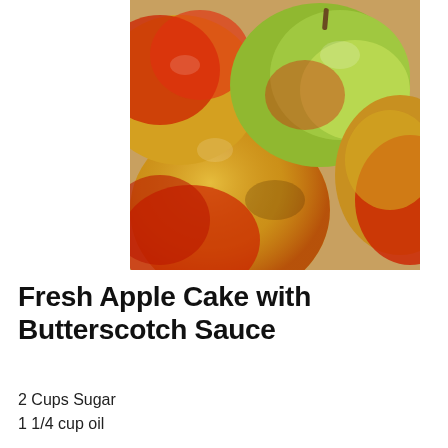[Figure (photo): Close-up photograph of several red and yellow-green apples clustered together, with a stem visible on one apple]
Fresh Apple Cake with Butterscotch Sauce
2 Cups Sugar
1 1/4 cup oil